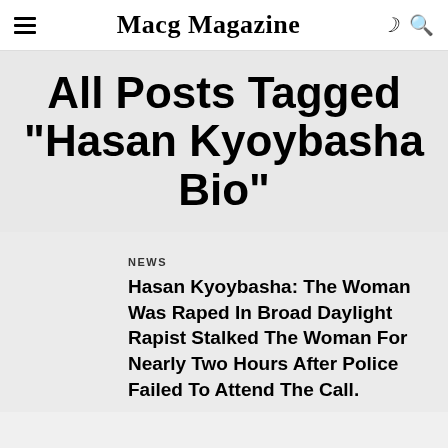Macg Magazine
All Posts Tagged "Hasan Kyoybasha Bio"
NEWS
Hasan Kyoybasha: The Woman Was Raped In Broad Daylight Rapist Stalked The Woman For Nearly Two Hours After Police Failed To Attend The Call.